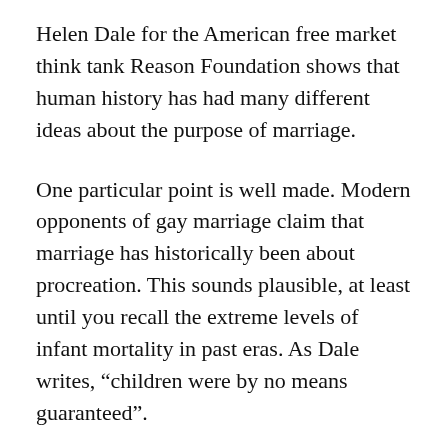Helen Dale for the American free market think tank Reason Foundation shows that human history has had many different ideas about the purpose of marriage.
One particular point is well made. Modern opponents of gay marriage claim that marriage has historically been about procreation. This sounds plausible, at least until you recall the extreme levels of infant mortality in past eras. As Dale writes, “children were by no means guaranteed”.
Most attempts to divine a universal core in the idea of marriage are unhistorical. So allowing same-sex couples to enjoy the benefits of this